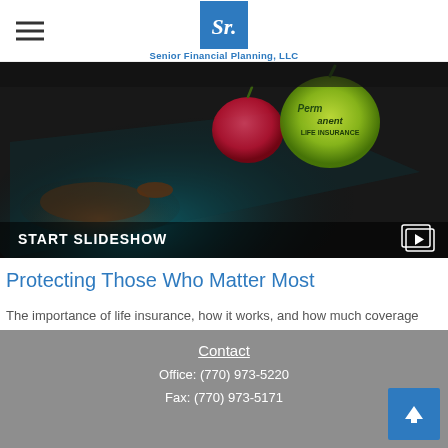Senior Financial Planning, LLC
[Figure (screenshot): Dark tablet screen showing green and red apple icons with 'Permanent Life Insurance' text, with a hand touching the screen. A 'START SLIDESHOW' bar overlays the bottom with a play icon.]
Protecting Those Who Matter Most
The importance of life insurance, how it works, and how much coverage you need.
Contact
Office: (770) 973-5220
Fax: (770) 973-5171